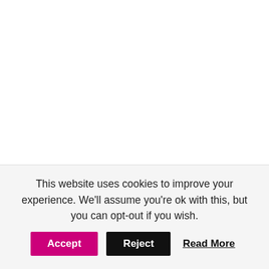It is showcased that the upcoming ZTE Axon 40 Ultra smartphone is featuring a curved full-screen display and it is having an in-display front camera setup. While the back panel of the device is featuring a triple camera set
This website uses cookies to improve your experience. We'll assume you're ok with this, but you can opt-out if you wish.